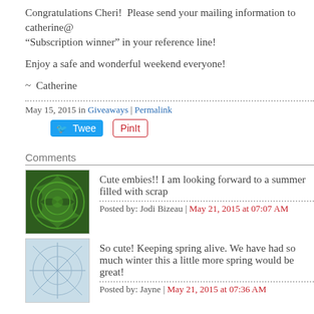Congratulations Cheri!  Please send your mailing information to catherine@ "Subscription winner" in your reference line!
Enjoy a safe and wonderful weekend everyone!
~  Catherine
May 15, 2015 in Giveaways | Permalink
[Figure (screenshot): Tweet button and Pin it button]
Comments
Cute embies!! I am looking forward to a summer filled with scrap
Posted by: Jodi Bizeau | May 21, 2015 at 07:07 AM
So cute! Keeping spring alive. We have had so much winter this a little more spring would be great!
Posted by: Jayne | May 21, 2015 at 07:36 AM